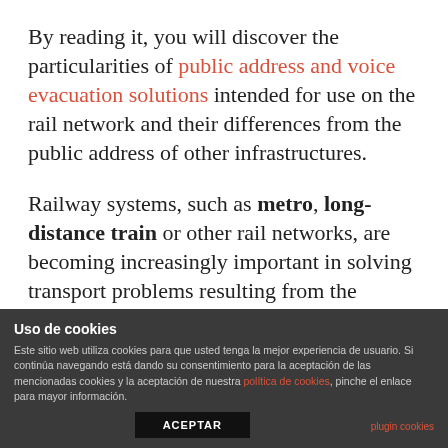By reading it, you will discover the particularities of public address and voice evacuation solutions intended for use on the rail network and their differences from the public address of other infrastructures.
Railway systems, such as metro, long-distance train or other rail networks, are becoming increasingly important in solving transport problems resulting from the
Uso de cookies
Este sitio web utiliza cookies para que usted tenga la mejor experiencia de usuario. Si continúa navegando está dando su consentimiento para la aceptación de las mencionadas cookies y la aceptación de nuestra política de cookies, pinche el enlace para mayor información.
ACEPTAR
plugin cookies